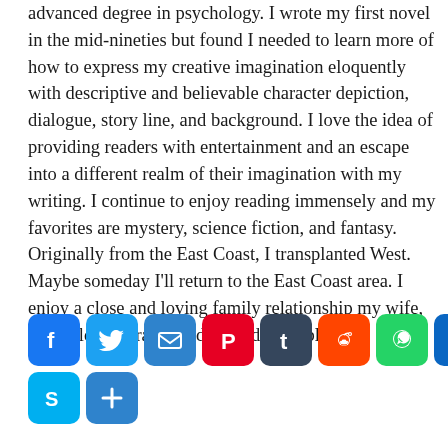advanced degree in psychology. I wrote my first novel in the mid-nineties but found I needed to learn more of how to express my creative imagination eloquently with descriptive and believable character depiction, dialogue, story line, and background. I love the idea of providing readers with entertainment and an escape into a different realm of their imagination with my writing. I continue to enjoy reading immensely and my favorites are mystery, science fiction, and fantasy. Originally from the East Coast, I transplanted West. Maybe someday I'll return to the East Coast area. I enjoy a close and loving family relationship my wife, my children, grandchildren and my siblings.
[Figure (infographic): Row of social media sharing icons: Facebook, Twitter, Email, Pinterest, Tumblr, Reddit, WhatsApp, LinkedIn, Amazon, Buffer, Skype, Share]